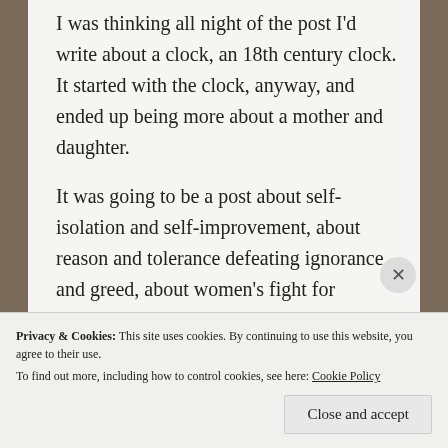I was thinking all night of the post I'd write about a clock, an 18th century clock. It started with the clock, anyway, and ended up being more about a mother and daughter.
It was going to be a post about self-isolation and self-improvement, about reason and tolerance defeating ignorance and greed, about women's fight for equality and independence; about jealousy and love, egos and guillotines; about rebellion and restraint; about philosophy, education and religion: about gaiety, satire and
Privacy & Cookies: This site uses cookies. By continuing to use this website, you agree to their use.
To find out more, including how to control cookies, see here: Cookie Policy
Close and accept